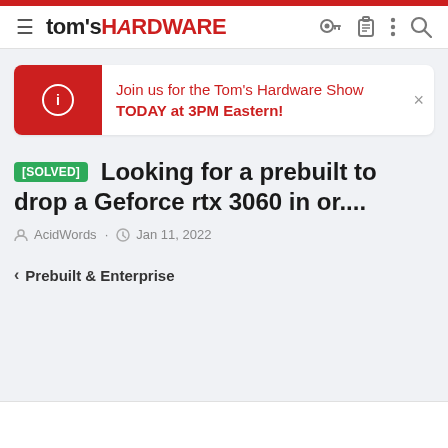tom's HARDWARE
Join us for the Tom's Hardware Show TODAY at 3PM Eastern!
[SOLVED] Looking for a prebuilt to drop a Geforce rtx 3060 in or....
AcidWords · Jan 11, 2022
< Prebuilt & Enterprise